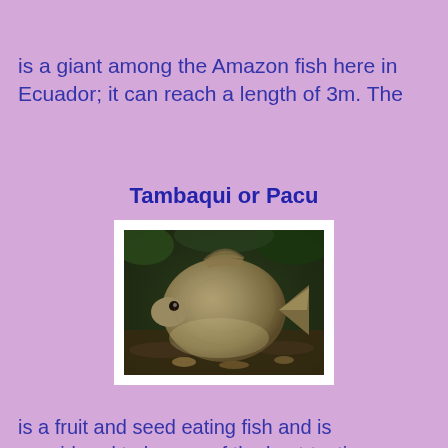is a giant among the Amazon fish here in Ecuador; it can reach a length of 3m. The
Tambaqui or Pacu
[Figure (photo): Photograph of a Tambaqui or Pacu fish, a large round-bodied fish shown in an underwater setting]
is a fruit and seed eating fish and is considered to be one of the best-tasting freshwater fish in the world. The pacu is a large vegetarian member of the piranha family that can reach one meter in length and 45 kg in weight and is eagerly harpooned by Amazon natives. The tambaqui's favourite meal are seeds from a rubber tree and is this fish is the most